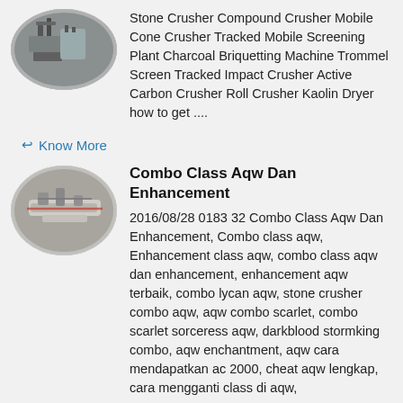[Figure (photo): Oval thumbnail photo of industrial stone crusher equipment outdoors]
Stone Crusher Compound Crusher Mobile Cone Crusher Tracked Mobile Screening Plant Charcoal Briquetting Machine Trommel Screen Tracked Impact Crusher Active Carbon Crusher Roll Crusher Kaolin Dryer how to get ....
Know More
[Figure (photo): Oval thumbnail photo of industrial machinery pipes and equipment]
Combo Class Aqw Dan Enhancement
2016/08/28 0183 32 Combo Class Aqw Dan Enhancement, Combo class aqw, Enhancement class aqw, combo class aqw dan enhancement, enhancement aqw terbaik, combo lycan aqw, stone crusher combo aqw, aqw combo scarlet, combo scarlet sorceress aqw, darkblood stormking combo, aqw enchantment, aqw cara mendapatkan ac 2000, cheat aqw lengkap, cara mengganti class di aqw,